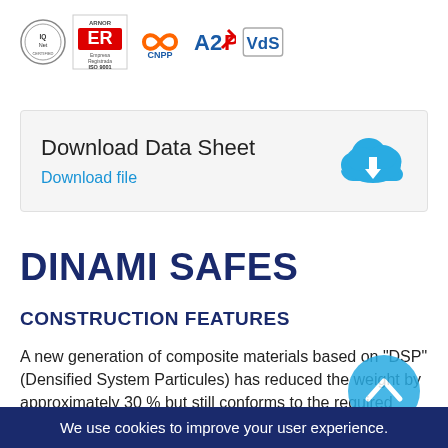[Figure (logo): Certification logos: IQNet, ARNOR ER ISO 9001, CNPP, A2P, VdS]
Download Data Sheet
Download file
DINAMI SAFES
CONSTRUCTION FEATURES
A new generation of composite materials based on "DSP" (Densified System Particules) has reduced the weight by approximately 30 % but still conforms to the required security grade by EN 1143-1 standard.
We use cookies to improve your user experience.